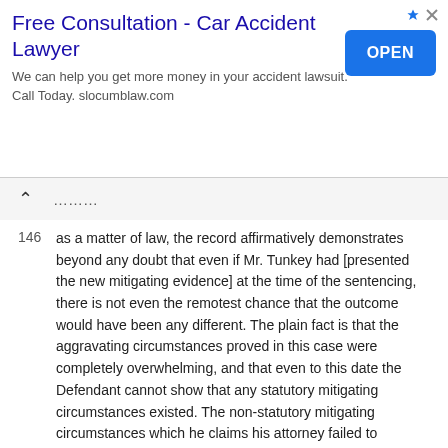[Figure (other): Advertisement banner: 'Free Consultation - Car Accident Lawyer' with an OPEN button and text 'We can help you get more money in your accident lawsuit. Call Today. slocumblaw.com']
146 as a matter of law, the record affirmatively demonstrates beyond any doubt that even if Mr. Tunkey had [presented the new mitigating evidence] at the time of the sentencing, there is not even the remotest chance that the outcome would have been any different. The plain fact is that the aggravating circumstances proved in this case were completely overwhelming, and that even to this date the Defendant cannot show that any statutory mitigating circumstances existed. The non-statutory mitigating circumstances which he claims his attorney failed to investigate and present at the time of sentencing would as a matter of law, be insufficient to outweigh the multiple aggravating circumstances present in this case.
147 Order Denying Post-Conviction Relief Filed Pursuant to Fla.R.Crim.P. 3.850 at 12 (emphasis in original). The Florida Supreme Court affirmed this denial of relief, concluding that "[appellant's] claims are shown conclusively to be without merit so as